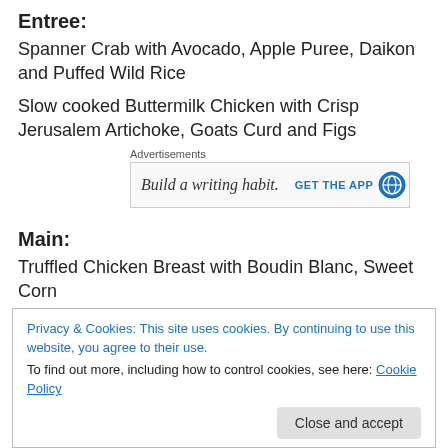Entree:
Spanner Crab with Avocado, Apple Puree, Daikon and Puffed Wild Rice
Slow cooked Buttermilk Chicken with Crisp Jerusalem Artichoke, Goats Curd and Figs
[Figure (screenshot): Advertisement banner: 'Build a writing habit. GET THE APP' with a globe/app icon]
Main:
Truffled Chicken Breast with Boudin Blanc, Sweet Corn
Privacy & Cookies: This site uses cookies. By continuing to use this website, you agree to their use.
To find out more, including how to control cookies, see here: Cookie Policy
Caramel Ice Cream Paddles with Chocolate and Praline